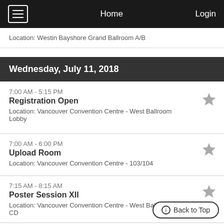Home | Login
Location: Westin Bayshore Grand Ballroom A/B
Wednesday, July 11, 2018
7:00 AM - 5:15 PM
Registration Open
Location: Vancouver Convention Centre - West Ballroom Lobby
7:00 AM - 6:00 PM
Upload Room
Location: Vancouver Convention Centre - 103/104
7:15 AM - 8:15 AM
Poster Session XII
Location: Vancouver Convention Centre - West Ballroom CD